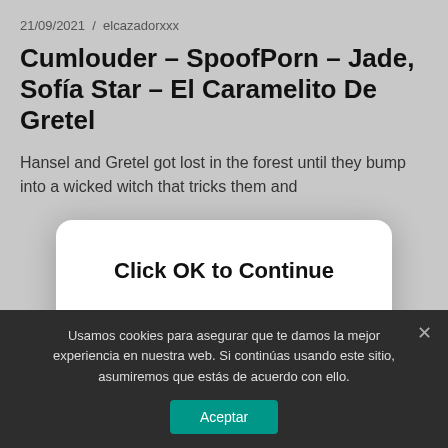21/09/2021  /  elcazadorxxx
Cumlouder – SpoofPorn – Jade, Sofía Star – El Caramelito De Gretel
Hansel and Gretel got lost in the forest until they bump into a wicked witch that tricks them and
Sigue leyendo
[Figure (screenshot): Thumbnail image area showing a blurred/skin-toned background]
Click OK to Continue
OK
Usamos cookies para asegurar que te damos la mejor experiencia en nuestra web. Si continúas usando este sitio, asumiremos que estás de acuerdo con ello.
Aceptar